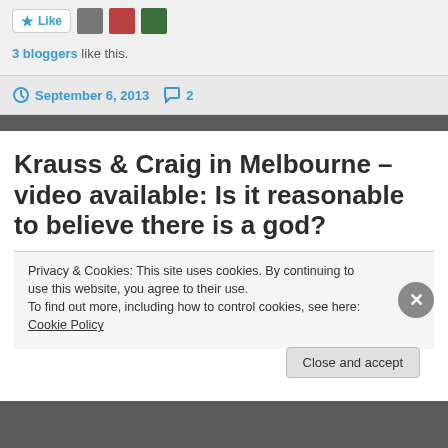[Figure (screenshot): Like button with star icon and three blogger avatar thumbnails]
3 bloggers like this.
September 6, 2013  2
Krauss & Craig in Melbourne – video available: Is it reasonable to believe there is a god?
Privacy & Cookies: This site uses cookies. By continuing to use this website, you agree to their use. To find out more, including how to control cookies, see here: Cookie Policy
Close and accept